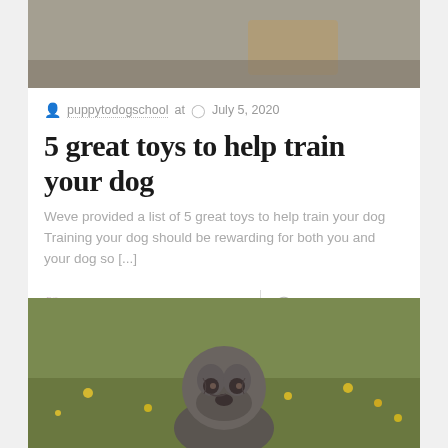[Figure (photo): Partial top image of a dog training scene, cropped at top of page]
puppytodogschool at   July 5, 2020
5 great toys to help train your dog
Weve provided a list of 5 great toys to help train your dog Training your dog should be rewarding for both you and your dog so [...]
♡ 0   |   ◯ 0   Read more
[Figure (photo): Photo of a dark-colored pug puppy looking up, sitting in a field with yellow flowers and green grass]